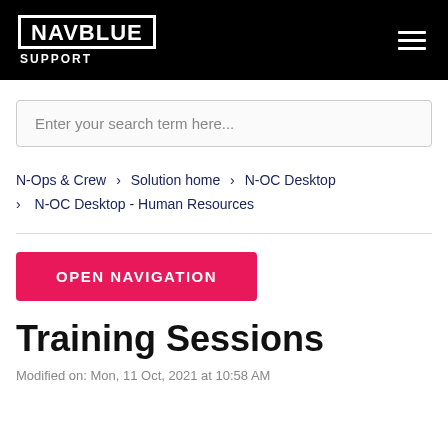NAVBLUE SUPPORT
Enter your search term here...
N-Ops & Crew › Solution home › N-OC Desktop › N-OC Desktop - Human Resources
OPEN NAVIGATION
Training Sessions
Modified on: Mon, 11 Oct, 2021 at 10:58 AM